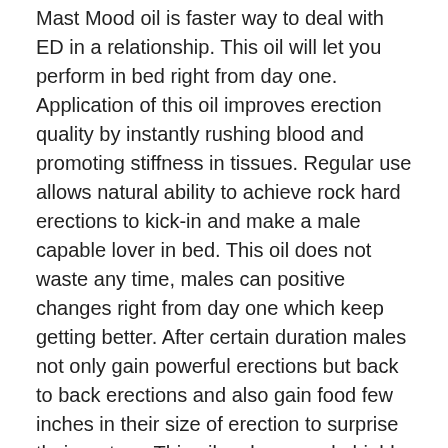Mast Mood oil is faster way to deal with ED in a relationship. This oil will let you perform in bed right from day one. Application of this oil improves erection quality by instantly rushing blood and promoting stiffness in tissues. Regular use allows natural ability to achieve rock hard erections to kick-in and make a male capable lover in bed. This oil does not waste any time, males can positive changes right from day one which keep getting better. After certain duration males not only gain powerful erections but back to back erections and also gain food few inches in their size of erection to surprise their partner. This oil makes a male highly capable lover in bed and works as one of the most effective way how to deal with ED in a relationship. The results obtained by using these supplements are long-lasting and stay for longer period in life.
Mast Mood oil is offered in the denomination of 15 ml bottles at online stores for immediate purchase using credit